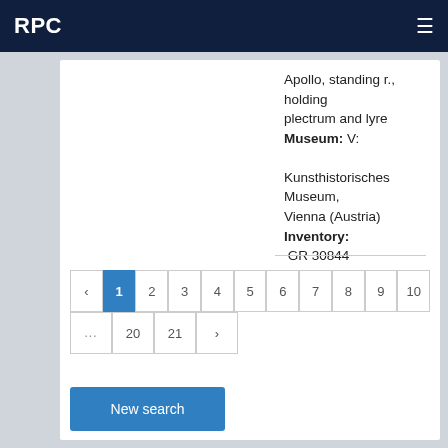RPC
Apollo, standing r., holding plectrum and lyre Museum: V: Kunsthistorisches Museum, Vienna (Austria) Inventory: GR 30844 Diameter: 19
‹ 1 2 3 4 5 6 7 8 9 10 ... 20 21 ›
New search